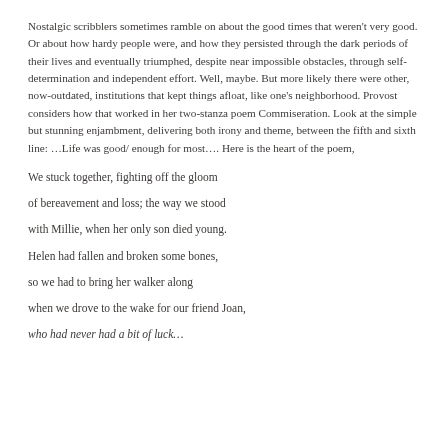Nostalgic scribblers sometimes ramble on about the good times that weren't very good. Or about how hardy people were, and how they persisted through the dark periods of their lives and eventually triumphed, despite near impossible obstacles, through self-determination and independent effort. Well, maybe. But more likely there were other, now-outdated, institutions that kept things afloat, like one's neighborhood. Provost considers how that worked in her two-stanza poem Commiseration. Look at the simple but stunning enjambment, delivering both irony and theme, between the fifth and sixth line: …Life was good/ enough for most…. Here is the heart of the poem,
We stuck together, fighting off the gloom
of bereavement and loss; the way we stood
with Millie, when her only son died young.
Helen had fallen and broken some bones,
so we had to bring her walker along
when we drove to the wake for our friend Joan,
who had never had a bit of luck…